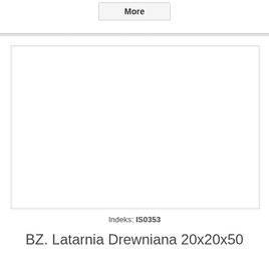More
[Figure (photo): Empty white product image placeholder with light gray border]
Indeks: IS0353
BZ. Latarnia Drewniana 20x20x50